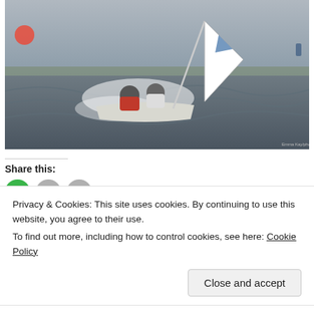[Figure (photo): Two sailors in a small sailing dinghy heeling sharply in choppy grey water with waves and spray. One sailor wears red, the other wears white. A white sail with a triangular logo is visible.]
Share this:
Privacy & Cookies: This site uses cookies. By continuing to use this website, you agree to their use.
To find out more, including how to control cookies, see here: Cookie Policy
Close and accept